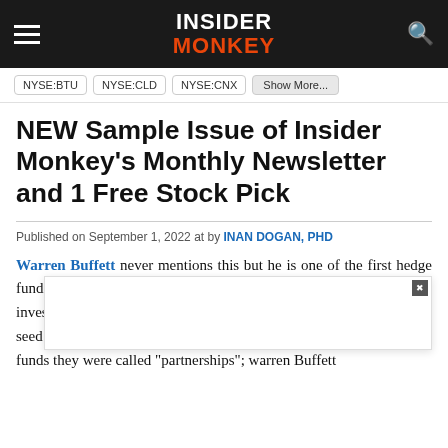INSIDER MONKEY
NYSE:BTU  NYSE:CLD  NYSE:CNX  Show More...
NEW Sample Issue of Insider Monkey's Monthly Newsletter and 1 Free Stock Pick
Published on September 1, 2022 at by INAN DOGAN, PHD
Warren Buffett never mentions this but he is one of the first hedge fund managers who unlocked the secrets of successful stock market investing. He launched [his first fund in 195]0 in [19]seed[ed with $100,000 in capital... h]edge funds they were called "partnerships"; warren Buffett